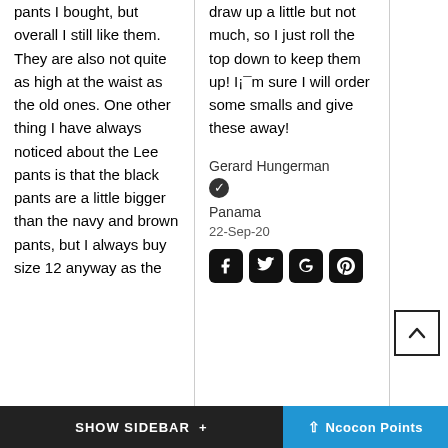pants I bought, but overall I still like them. They are also not quite as high at the waist as the old ones. One other thing I have always noticed about the Lee pants is that the black pants are a little bigger than the navy and brown pants, but I always buy size 12 anyway as the
draw up a little but not much, so I just roll the top down to keep them up! I¡¯m sure I will order some smalls and give these away!
Gerard Hungerman
Panama
22-Sep-20
[Figure (infographic): Social media share icons: Facebook, Twitter, Google+, Pinterest]
[Figure (infographic): Scroll to top button with upward chevron]
SHOW SIDEBAR +   ^ Ncocon Points